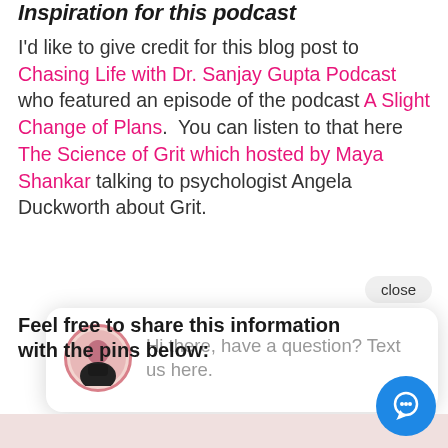Inspiration for this podcast
I'd like to give credit for this blog post to Chasing Life with Dr. Sanjay Gupta Podcast who featured an episode of the podcast A Slight Change of Plans.  You can listen to that here The Science of Grit which hosted by Maya Shankar talking to psychologist Angela Duckworth about Grit.
close
[Figure (screenshot): Chat widget popup showing an avatar of a woman and the text: Hi there, have a question? Text us here.]
Feel free to share this information with the pins below:
[Figure (photo): Bottom strip of an image, partially visible]